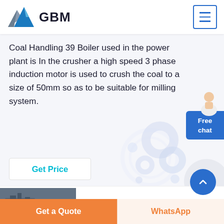[Figure (logo): GBM logo: blue/grey mountain peaks icon with bold text GBM]
Coal Handling 39 Boiler used in the power plant is In the crusher a high speed 3 phase induction motor is used to crush the coal to a size of 50mm so as to be suitable for milling system.
Get Price
[Figure (photo): Industrial coal milling equipment with workers standing nearby]
BHEL PRESENCE IN COAL MILLING EQUIPMENT
Get a Quote
WhatsApp